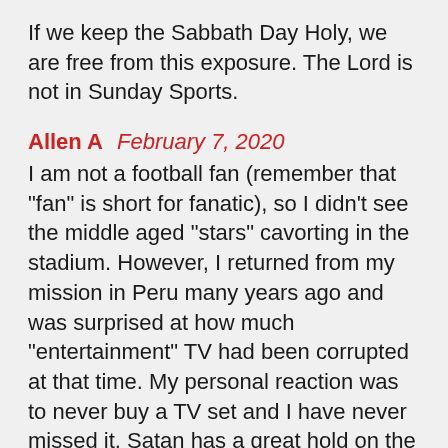If we keep the Sabbath Day Holy, we are free from this exposure. The Lord is not in Sunday Sports.
Allen A   February 7, 2020
I am not a football fan (remember that "fan" is short for fanatic), so I didn't see the middle aged "stars" cavorting in the stadium. However, I returned from my mission in Peru many years ago and was surprised at how much "entertainment" TV had been corrupted at that time. My personal reaction was to never buy a TV set and I have never missed it. Satan has a great hold on the people and the politicians in this country today and much of it has been achieved through the television industry. It is like inviting a porn star to live in